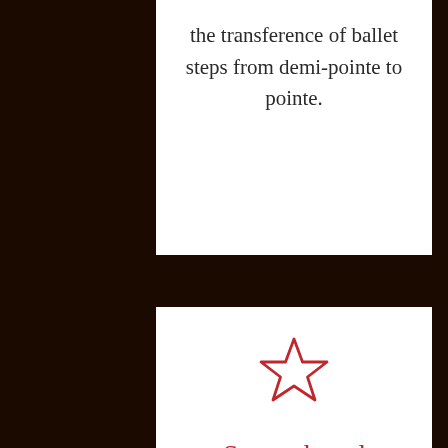the transference of ballet steps from demi-pointe to pointe.
[Figure (illustration): Red outline star icon]
Strength and Conditioning
Is a regime that gives dancers the opportunity to strengthen their bodies to complement their technical